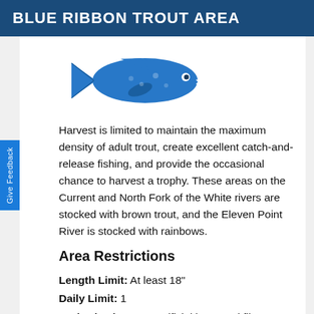BLUE RIBBON TROUT AREA
[Figure (illustration): Blue silhouette illustration of a trout fish facing left]
Harvest is limited to maintain the maximum density of adult trout, create excellent catch-and-release fishing, and provide the occasional chance to harvest a trophy. These areas on the Current and North Fork of the White rivers are stocked with brown trout, and the Eleven Point River is stocked with rainbows.
Area Restrictions
Length Limit: At least 18"
Daily Limit: 1
Authorized Lures: Artificial lures and flies
Only flies and artificial lures may be used, and soft plastic baits and natural and scented baits are prohibited when fishing for any species.